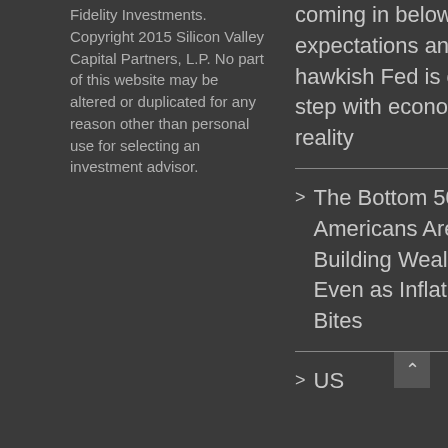Fidelity Investments. Copyright 2015 Silicon Valley Capital Partners, L.P. No part of this website may be altered or duplicated for any reason other than personal use for selecting an investment advisor.
coming in below expectations and hawkish Fed is out of step with economic reality
The Bottom 50% of Americans Are Building Wealth Even as Inflation Bites
US